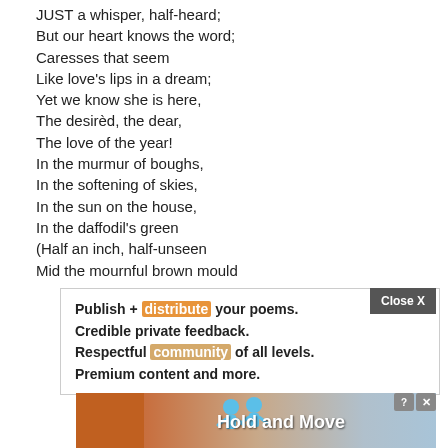JUST a whisper, half-heard;
But our heart knows the word;
Caresses that seem
Like love's lips in a dream;
Yet we know she is here,
The desirèd, the dear,
The love of the year!
In the murmur of boughs,
In the softening of skies,
In the sun on the house,
In the daffodil's green
(Half an inch, half-unseen
Mid the mournful brown mould
Publish + distribute your poems.
Credible private feedback.
Respectful community of all levels.
Premium content and more.
[Figure (infographic): Advertisement banner showing 'Hold and Move' with cartoon figures and orange/brown gradient background]